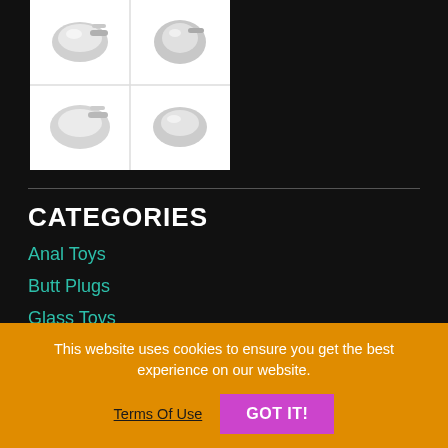[Figure (photo): Product image collage showing metallic adult toys in a 2x2 grid layout on white background]
CATEGORIES
Anal Toys
Butt Plugs
Glass Toys
Thermal Play
Water & Splash Proof Toys
PRODUCT DETAILS
This website uses cookies to ensure you get the best experience on our website.
Terms Of Use
GOT IT!